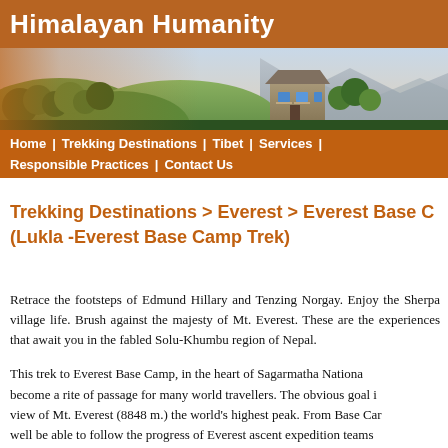Himalayan Humanity
[Figure (photo): Landscape photo showing a Himalayan hillside with lush green trees, a traditional stone building with blue windows, and mountains in the background.]
Home | Trekking Destinations | Tibet | Services | Responsible Practices | Contact Us
Trekking Destinations > Everest > Everest Base Camp (Lukla -Everest Base Camp Trek)
Retrace the footsteps of Edmund Hillary and Tenzing Norgay. Enjoy the Sherpa village life. Brush against the majesty of Mt. Everest. These are the experiences that await you in the fabled Solu-Khumbu region of Nepal.
This trek to Everest Base Camp, in the heart of Sagarmatha National Park, has become a rite of passage for many world travellers. The obvious goal is a view of Mt. Everest (8848 m.) the world's highest peak. From Base Camp you well be able to follow the progress of Everest ascent expedition teams during the prime climbing seasons of spring and fall. But along the way you